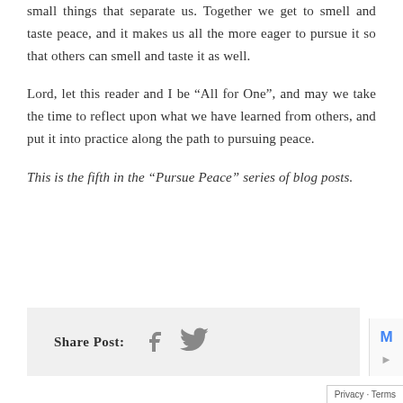small things that separate us. Together we get to smell and taste peace, and it makes us all the more eager to pursue it so that others can smell and taste it as well.
Lord, let this reader and I be “All for One”, and may we take the time to reflect upon what we have learned from others, and put it into practice along the path to pursuing peace.
This is the fifth in the “Pursue Peace” series of blog posts.
Share Post: